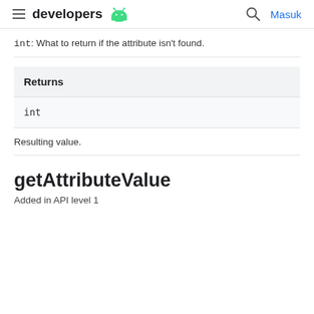developers | Masuk
int: What to return if the attribute isn't found.
| Returns |
| --- |
| int |
Resulting value.
getAttributeValue
Added in API level 1